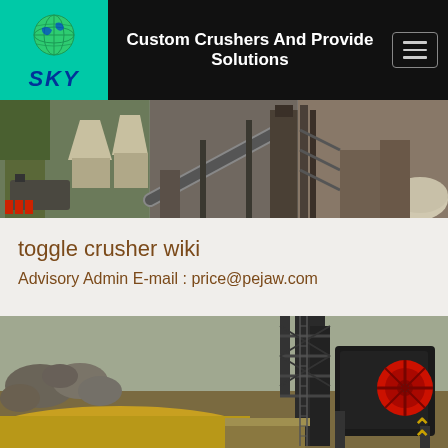Custom Crushers And Provide Solutions
[Figure (photo): Industrial crushing plant banner showing conveyor belts, silos, and aggregate processing equipment at a quarry site]
toggle crusher wiki
Advisory Admin E-mail : price@pejaw.com
[Figure (photo): Jaw crusher machine at a quarry with large rocks and yellow aggregate material visible in the foreground, industrial steel structure with red flywheel visible]